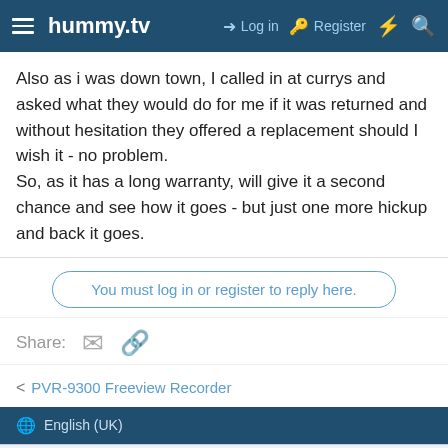hummy.tv  Log in  Register
Also as i was down town, I called in at currys and asked what they would do for me if it was returned and without hesitation they offered a replacement should I wish it - no problem. So, as it has a long warranty, will give it a second chance and see how it goes - but just one more hickup and back it goes.
You must log in or register to reply here.
Share:
< PVR-9300 Freeview Recorder
🌐 English (UK)
This site uses cookies to help personalise content, tailor your experience and to keep you logged in if you register. By continuing to use this site, you are consenting to our use of cookies.